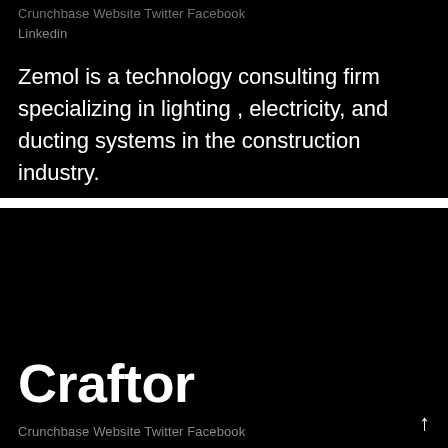Crunchbase Website Twitter Facebook Linkedin
Zemol is a technology consulting firm specializing in lighting , electricity, and ducting systems in the construction industry.
Craftor
Crunchbase Website Twitter Facebook